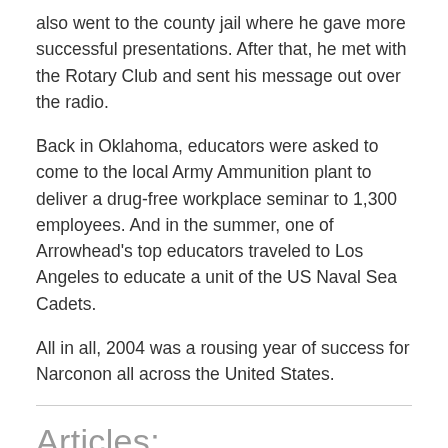also went to the county jail where he gave more successful presentations. After that, he met with the Rotary Club and sent his message out over the radio.
Back in Oklahoma, educators were asked to come to the local Army Ammunition plant to deliver a drug-free workplace seminar to 1,300 employees. And in the summer, one of Arrowhead’s top educators traveled to Los Angeles to educate a unit of the US Naval Sea Cadets.
All in all, 2004 was a rousing year of success for Narconon all across the United States.
Articles:
Narconon 2004 History - USA & Canada